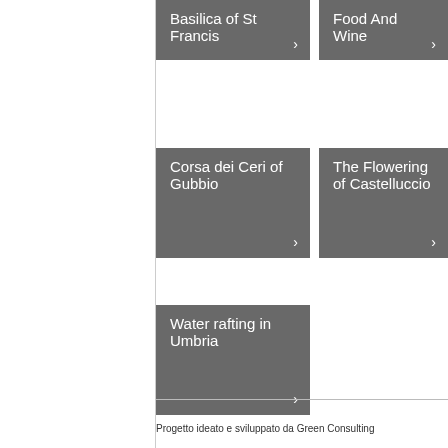[Figure (screenshot): Navigation card: Basilica of St Francis with arrow button]
[Figure (screenshot): Navigation card: Food And Wine with arrow button (partially visible)]
[Figure (screenshot): Navigation card: Corsa dei Ceri of Gubbio with arrow button]
[Figure (screenshot): Navigation card: The Flowering of Castelluccio with arrow button (partially visible)]
[Figure (screenshot): Navigation card: Water rafting in Umbria with arrow button]
Progetto ideato e sviluppato da Green Consulting